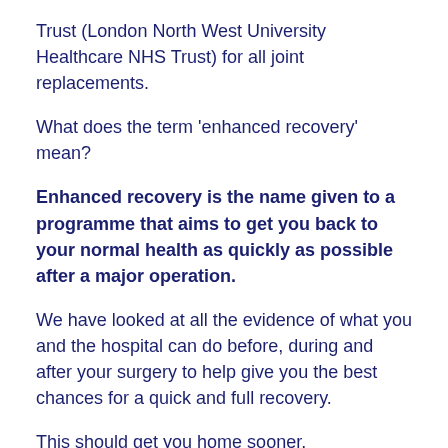Trust (London North West University Healthcare NHS Trust) for all joint replacements.
What does the term 'enhanced recovery' mean?
Enhanced recovery is the name given to a programme that aims to get you back to your normal health as quickly as possible after a major operation.
We have looked at all the evidence of what you and the hospital can do before, during and after your surgery to help give you the best chances for a quick and full recovery.
This should get you home sooner.